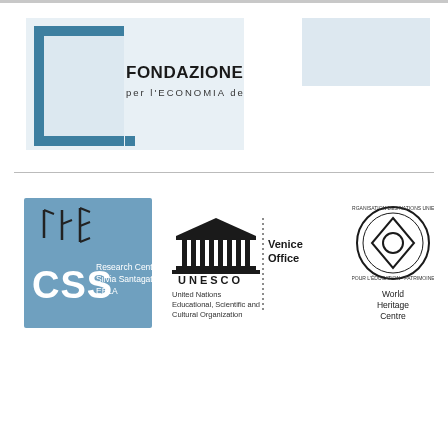[Figure (logo): Fondazione Santagata per l'Economia della Cultura logo — teal square border with white rectangle inside, text FONDAZIONE SANTAGATA per l'ECONOMIA della CULTURA]
[Figure (logo): Light blue rectangle placeholder box in top right]
[Figure (logo): CSS Research Centre Silvia Santagata EBLA logo — blue square background with cuneiform-like marks and CSS letters]
[Figure (logo): UNESCO Venice Office logo — classical temple illustration with text United Nations Educational, Scientific and Cultural Organization, Venice Office]
[Figure (logo): World Heritage Centre logo — circular emblem with diamond shape inside and text World Heritage Centre]